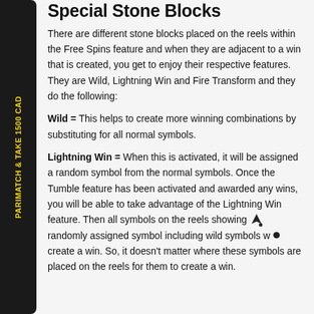Special Stone Blocks
There are different stone blocks placed on the reels within the Free Spins feature and when they are adjacent to a win that is created, you get to enjoy their respective features. They are Wild, Lightning Win and Fire Transform and they do the following:
Wild = This helps to create more winning combinations by substituting for all normal symbols.
Lightning Win = When this is activated, it will be assigned a random symbol from the normal symbols. Once the Tumble feature has been activated and awarded any wins, you will be able to take advantage of the Lightning Win feature. Then all symbols on the reels showing this randomly assigned symbol including wild symbols will create a win. So, it doesn't matter where these symbols are placed on the reels for them to create a win.
PARIMATCH & TAKE 1500 CAD